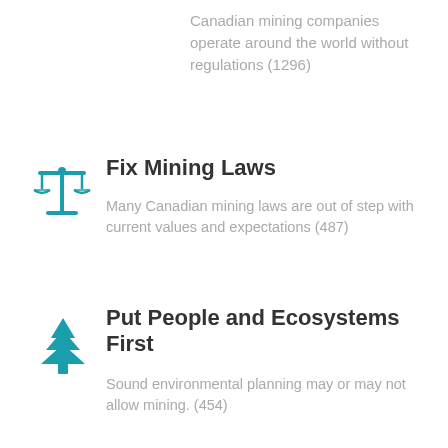Canadian mining companies operate around the world without regulations (1296)
[Figure (illustration): Teal scales of justice icon]
Fix Mining Laws
Many Canadian mining laws are out of step with current values and expectations (487)
[Figure (illustration): Teal pine tree icon]
Put People and Ecosystems First
Sound environmental planning may or may not allow mining. (454)